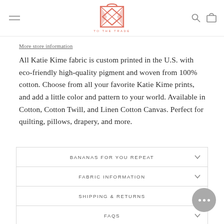TO THE TRADE
More store information
All Katie Kime fabric is custom printed in the U.S. with eco-friendly high-quality pigment and woven from 100% cotton. Choose from all your favorite Katie Kime prints, and add a little color and pattern to your world. Available in Cotton, Cotton Twill, and Linen Cotton Canvas. Perfect for quilting, pillows, drapery, and more.
BANANAS FOR YOU REPEAT
FABRIC INFORMATION
SHIPPING & RETURNS
FAQS